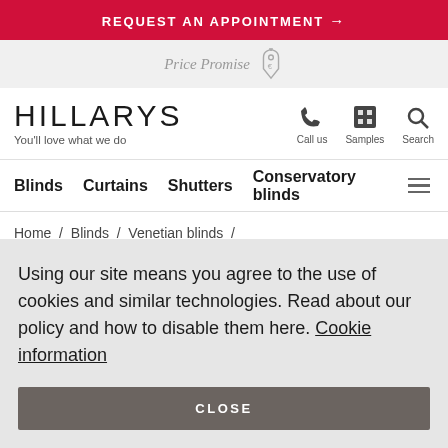REQUEST AN APPOINTMENT →
Price Promise
[Figure (logo): Hillarys logo with tagline 'You'll love what we do' and navigation icons for Call us, Samples, Search]
Blinds  Curtains  Shutters  Conservatory blinds
Home / Blinds / Venetian blinds / Conservatory Venetian blinds /
Using our site means you agree to the use of cookies and similar technologies. Read about our policy and how to disable them here. Cookie information
CLOSE